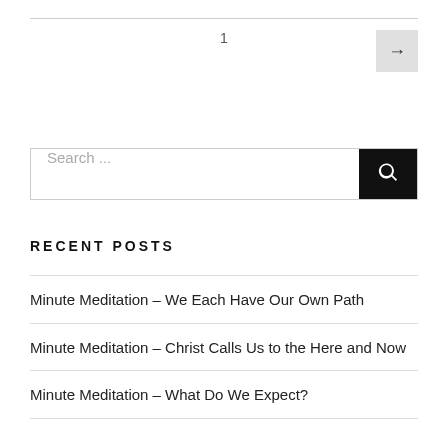1
[Figure (other): Next page arrow button (right arrow) on light grey background]
[Figure (other): Search input box with search icon button on dark background. Contains placeholder text 'Search ...']
RECENT POSTS
Minute Meditation – We Each Have Our Own Path
Minute Meditation – Christ Calls Us to the Here and Now
Minute Meditation – What Do We Expect?